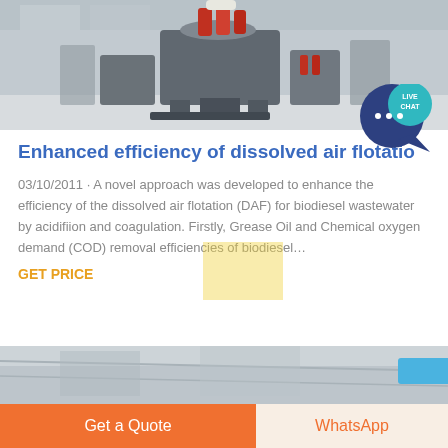[Figure (photo): Industrial machinery in a factory setting, showing heavy processing equipment with red components]
[Figure (illustration): Live Chat bubble icon with teal/dark blue speech bubble and chat icon]
Enhanced efficiency of dissolved air flotatio
03/10/2011 · A novel approach was developed to enhance the efficiency of the dissolved air flotation (DAF) for biodiesel wastewater by acidifiion and coagulation. Firstly, Grease Oil and Chemical oxygen demand (COD) removal efficiencies of biodiesel…
GET PRICE
[Figure (photo): Industrial interior photo, partially visible at bottom of page]
Get a Quote
WhatsApp